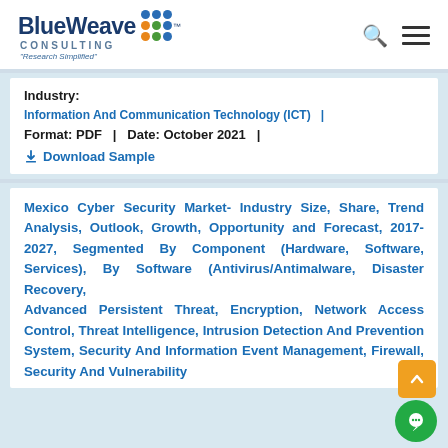[Figure (logo): BlueWeave Consulting logo with colorful dot grid and tagline 'Research Simplified']
Industry:
Information And Communication Technology (ICT)   |
Format: PDF   |   Date: October 2021   |
Download Sample
Mexico Cyber Security Market- Industry Size, Share, Trend Analysis, Outlook, Growth, Opportunity and Forecast, 2017-2027, Segmented By Component (Hardware, Software, Services), By Software (Antivirus/Antimalware, Disaster Recovery, Advanced Persistent Threat, Encryption, Network Access Control, Threat Intelligence, Intrusion Detection And Prevention System, Security And Information Event Management, Firewall, Security And Vulnerability